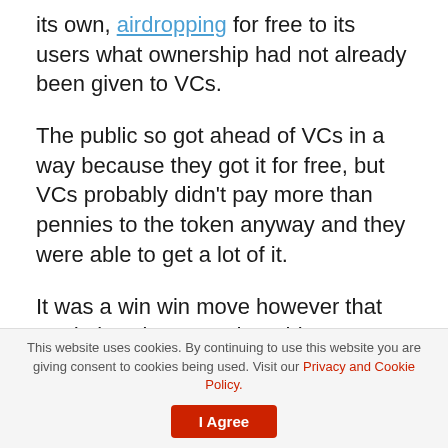its own, airdropping for free to its users what ownership had not already been given to VCs.
The public so got ahead of VCs in a way because they got it for free, but VCs probably didn't pay more than pennies to the token anyway and they were able to get a lot of it.
It was a win win move however that made it Uniswap and SushiSwap, rather than corporate Uni and free sushi. So indicating an ongoin battle between new business models and the old controlled billionaires-first.
This website uses cookies. By continuing to use this website you are giving consent to cookies being used. Visit our Privacy and Cookie Policy.